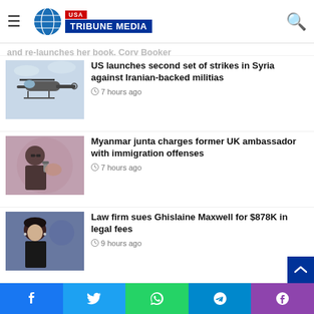USA Tribune Media
US launches second set of strikes in Syria against Iranian-backed militias — 7 hours ago
[Figure (photo): Military helicopter (Apache) in flight against sky]
US launches second set of strikes in Syria against Iranian-backed militias
7 hours ago
[Figure (photo): Woman speaking into microphone at podium]
Myanmar junta charges former UK ambassador with immigration offenses
7 hours ago
[Figure (photo): Woman with dark hair in professional setting]
Law firm sues Ghislaine Maxwell for $878K in legal fees
9 hours ago
[Figure (photo): President Biden speaking at podium with American flag]
Analysis: Biden's student loan plan opens a fresh midterm front
9 hours ago
[Figure (photo): NJ Transit sign]
Commuter Alert: Up to 45 Minute Delay In-Out of NY Penn Station Due to Porta…